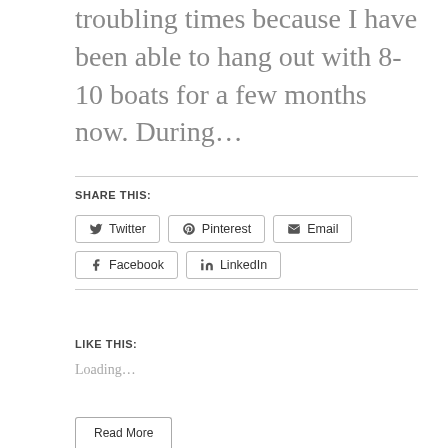troubling times because I have been able to hang out with 8-10 boats for a few months now. During…
SHARE THIS:
Twitter  Pinterest  Email  Facebook  LinkedIn
LIKE THIS:
Loading...
Read More